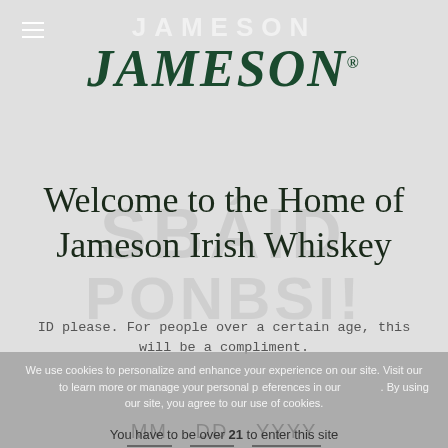[Figure (logo): Jameson Irish Whiskey logo in dark green serif italic font with registered trademark symbol]
Welcome to the Home of Jameson Irish Whiskey
ID please. For people over a certain age, this will be a compliment.
We use cookies to personalize and enhance your experience on our site. Visit our [link] to learn more or manage your personal preferences in our [link]. By using our site, you agree to our use of cookies.
You have to be over 21 to enter this site